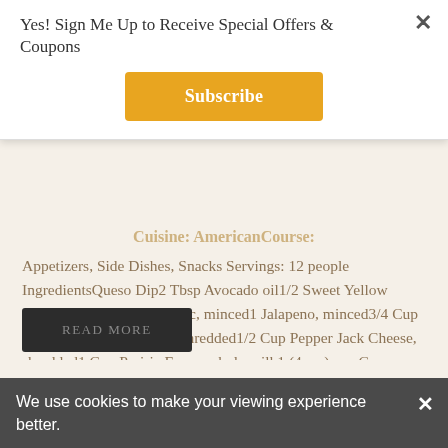Yes! Sign Me Up to Receive Special Offers & Coupons
Subscribe
Cuisine: AmericanCourse:
Appetizers, Side Dishes, Snacks Servings: 12 people IngredientsQueso Dip2 Tbsp Avocado oil1/2 Sweet Yellow Onion, diced3 cloves Garlic, minced1 Jalapeno, minced3/4 Cup White American Cheese, shredded1/2 Cup Pepper Jack Cheese, shredded1 Cup Prairie Farms whole milk1 (4 oz.) can Green Chilies1 Medium Tomato, diced2 Tbsp Fresh Cilantro, choppedSalt (to taste)Ground...
READ MORE
We use cookies to make your viewing experience better.